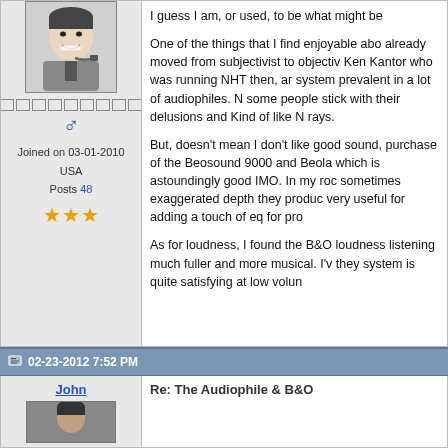[Figure (photo): Black and white photo of a man smoking a pipe, smiling]
□□□□□□□□□
♂
Joined on 03-01-2010
USA
Posts 48
★★★
I guess I am, or used, to be what might be

One of the things that I find enjoyable abo already moved from subjectivist to objectiv Ken Kantor who was running NHT then, ar system prevalent in a lot of audiophiles. N some people stick with their delusions and Kind of like N rays.

But, doesn't mean I don't like good sound, purchase of the Beosound 9000 and Beola which is astoundingly good IMO. In my roc sometimes exaggerated depth they produc very useful for adding a touch of eq for pro

As for loudness, I found the B&O loudness listening much fuller and more musical. I'v they system is quite satisfying at low volun
02-23-2012 7:52 PM
John
Re: The Audiophile & B&O